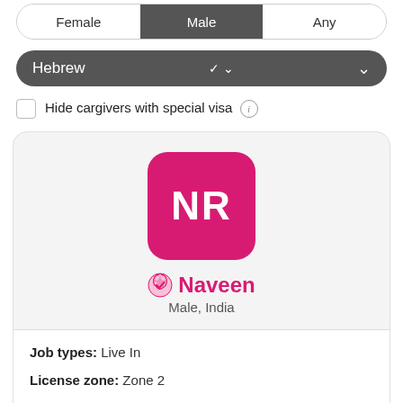[Figure (screenshot): Gender toggle bar with Female, Male (selected/active), and Any options]
[Figure (screenshot): Hebrew language dropdown selector with chevron]
Hide cargivers with special visa (i)
[Figure (screenshot): Caregiver profile card for Naveen, Male from India, with pink NR avatar and verified badge]
Job types: Live In
License zone: Zone 2
Regions: Haifa, Jerusalem, Sharon, Shfela, North, Center, South